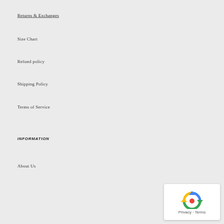Returns & Exchanges
Size Chart
Refund policy
Shipping Policy
Terms of Service
Information
About Us
[Figure (other): reCAPTCHA privacy badge with circular arrows icon and 'Privacy - Terms' text]